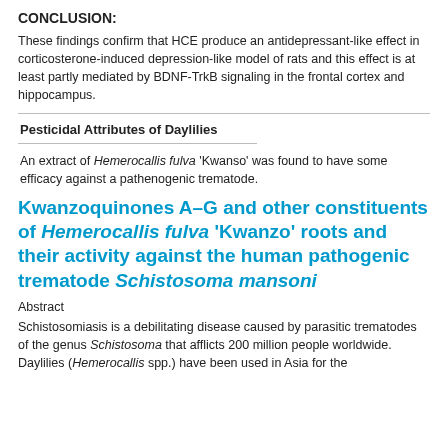CONCLUSION:
These findings confirm that HCE produce an antidepressant-like effect in corticosterone-induced depression-like model of rats and this effect is at least partly mediated by BDNF-TrkB signaling in the frontal cortex and hippocampus.
Pesticidal Attributes of Daylilies
An extract of Hemerocallis fulva 'Kwanso' was found to have some efficacy against a pathenogenic trematode.
Kwanzoquinones A–G and other constituents of Hemerocallis fulva 'Kwanzo' roots and their activity against the human pathogenic trematode Schistosoma mansoni
Abstract
Schistosomiasis is a debilitating disease caused by parasitic trematodes of the genus Schistosoma that afflicts 200 million people worldwide. Daylilies (Hemerocallis spp.) have been used in Asia for the